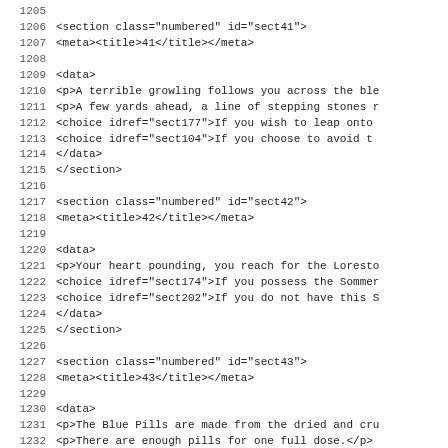Source code listing lines 1205-1237 showing XML sections sect41, sect42, sect43, sect44 (partial)